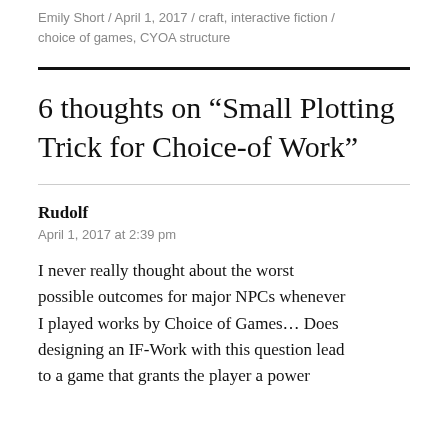Emily Short / April 1, 2017 / craft, interactive fiction / choice of games, CYOA structure
6 thoughts on “Small Plotting Trick for Choice-of Work”
Rudolf
April 1, 2017 at 2:39 pm
I never really thought about the worst possible outcomes for major NPCs whenever I played works by Choice of Games… Does designing an IF-Work with this question lead to a game that grants the player a power